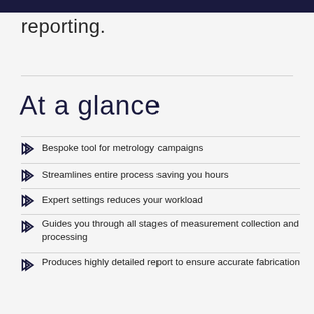reporting.
At a glance
Bespoke tool for metrology campaigns
Streamlines entire process saving you hours
Expert settings reduces your workload
Guides you through all stages of measurement collection and processing
Produces highly detailed report to ensure accurate fabrication